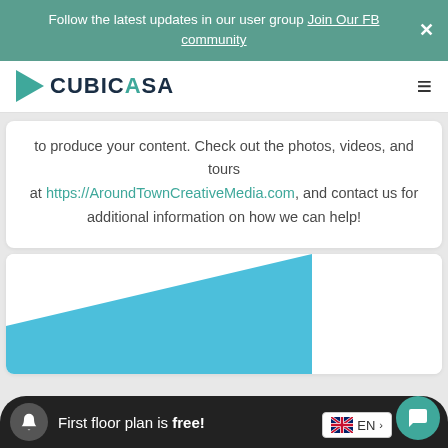Follow the latest updates in our user group Join Our FB community
[Figure (logo): CubicAsa logo with teal arrow and dark text]
to produce your content. Check out the photos, videos, and tours at https://AroundTownCreativeMedia.com, and contact us for additional information on how we can help!
[Figure (illustration): White card with blue diagonal shape at the bottom right]
First floor plan is free!